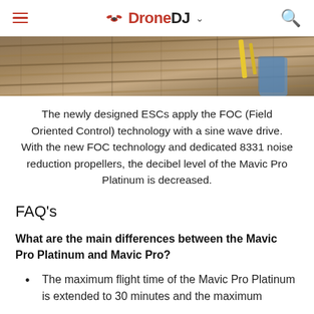DroneDJ
[Figure (photo): Close-up photo of wooden planks/deck with what appears to be a yellow object in the upper right portion]
The newly designed ESCs apply the FOC (Field Oriented Control) technology with a sine wave drive. With the new FOC technology and dedicated 8331 noise reduction propellers, the decibel level of the Mavic Pro Platinum is decreased.
FAQ's
What are the main differences between the Mavic Pro Platinum and Mavic Pro?
The maximum flight time of the Mavic Pro Platinum is extended to 30 minutes and the maximum